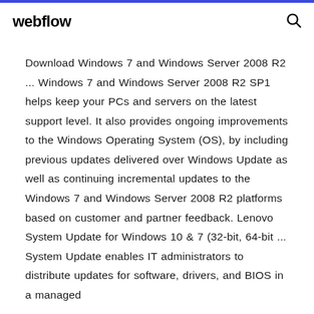webflow
Download Windows 7 and Windows Server 2008 R2 ... Windows 7 and Windows Server 2008 R2 SP1 helps keep your PCs and servers on the latest support level. It also provides ongoing improvements to the Windows Operating System (OS), by including previous updates delivered over Windows Update as well as continuing incremental updates to the Windows 7 and Windows Server 2008 R2 platforms based on customer and partner feedback. Lenovo System Update for Windows 10 & 7 (32-bit, 64-bit ... System Update enables IT administrators to distribute updates for software, drivers, and BIOS in a managed